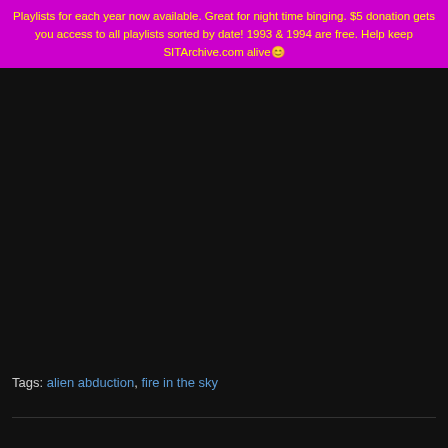Playlists for each year now available. Great for night time binging. $5 donation gets you access to all playlists sorted by date! 1993 & 1994 are free. Help keep SITArchive.com alive😊
Tags: alien abduction, fire in the sky